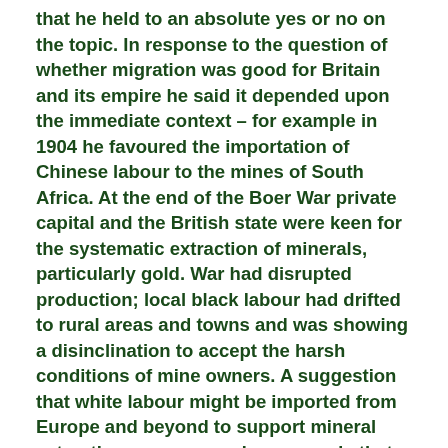that he held to an absolute yes or no on the topic. In response to the question of whether migration was good for Britain and its empire he said it depended upon the immediate context – for example in 1904 he favoured the importation of Chinese labour to the mines of South Africa. At the end of the Boer War private capital and the British state were keen for the systematic extraction of minerals, particularly gold. War had disrupted production; local black labour had drifted to rural areas and towns and was showing a disinclination to accept the harsh conditions of mine owners. A suggestion that white labour might be imported from Europe and beyond to support mineral extraction was opposed on grounds that whites working for wage rates and in conditions formerly the preserve of black labour would undermine the racist